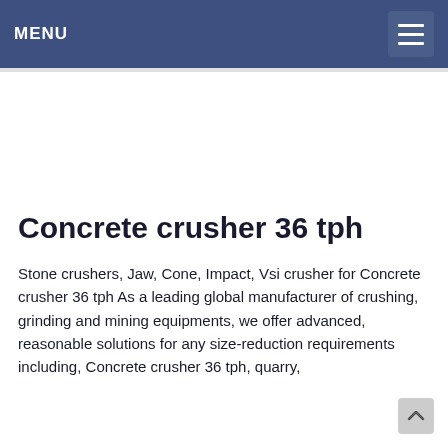MENU
Concrete crusher 36 tph
Stone crushers, Jaw, Cone, Impact, Vsi crusher for Concrete crusher 36 tph As a leading global manufacturer of crushing, grinding and mining equipments, we offer advanced, reasonable solutions for any size-reduction requirements including, Concrete crusher 36 tph, quarry,